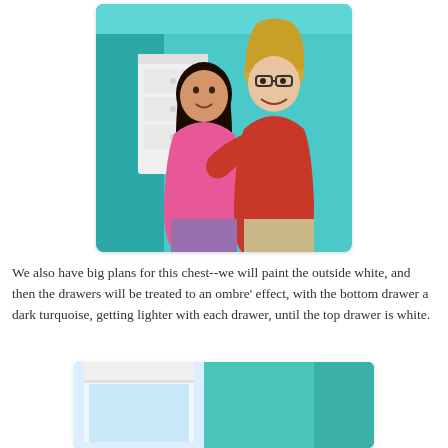[Figure (photo): Two people hugging and smiling in a teal/turquoise painted room. A girl in a pink top and a woman in a red t-shirt, with a white chest of drawers visible in the background.]
We also have big plans for this chest--we will paint the outside white, and then the drawers will be treated to an ombre' effect, with the bottom drawer a dark turquoise, getting lighter with each drawer, until the top drawer is white.
[Figure (photo): A teal/turquoise painted room corner showing a window with a white blind and the teal wall visible.]